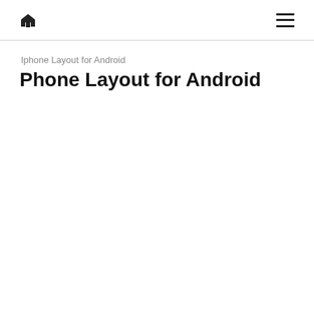home menu
Iphone Layout for Android
Phone Layout for Android